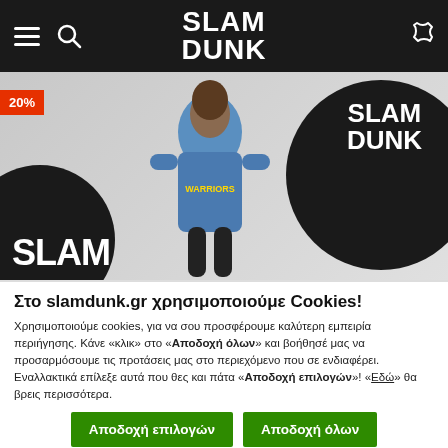SLAM DUNK navigation bar with hamburger menu, search icon, logo, and phone icon
[Figure (photo): Hero banner showing a man wearing a Golden State Warriors blue t-shirt, with SLAM DUNK branding in black circles and a sale badge showing '20%']
Στο slamdunk.gr χρησιμοποιούμε Cookies!
Χρησιμοποιούμε cookies, για να σου προσφέρουμε καλύτερη εμπειρία περιήγησης. Κάνε «κλικ» στο «Αποδοχή όλων» και βοήθησέ μας να προσαρμόσουμε τις προτάσεις μας στο περιεχόμενο που σε ενδιαφέρει. Εναλλακτικά επίλεξε αυτά που θες και πάτα «Αποδοχή επιλογών»! «Εδώ» θα βρεις περισσότερα.
Αποδοχή επιλογών
Αποδοχή όλων
Αναγκαία (checked), Προτιμήσεις, Στατιστικά, Εμπορικής προώθησης, Προβολή λεπτομερειών